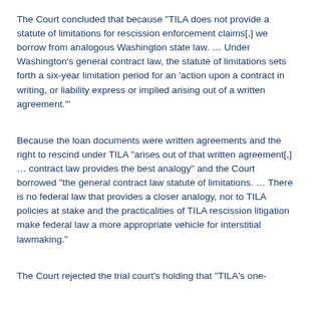The Court concluded that because "TILA does not provide a statute of limitations for rescission enforcement claims[,] we borrow from analogous Washington state law. … Under Washington's general contract law, the statute of limitations sets forth a six-year limitation period for an 'action upon a contract in writing, or liability express or implied arising out of a written agreement.'"
Because the loan documents were written agreements and the right to rescind under TILA "arises out of that written agreement[,] … contract law provides the best analogy" and the Court borrowed "the general contract law statute of limitations. … There is no federal law that provides a closer analogy, nor to TILA policies at stake and the practicalities of TILA rescission litigation make federal law a more appropriate vehicle for interstitial lawmaking."
The Court rejected the trial court's holding that "TILA's one-